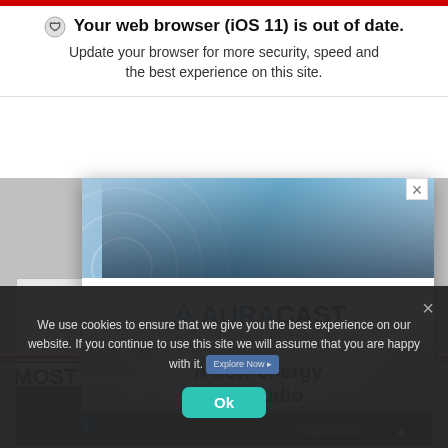🛡 Your web browser (iOS 11) is out of date. Update your browser for more security, speed and the best experience on this site.
[Figure (screenshot): Partially visible web page behind ad overlay. Teal sidebar box with text 'to the Site'. Gray background. Red horizontal divider lines. Partially visible 'MOST' heading.]
[Figure (advertisement): Auracast Bluetooth technology ad. Shows 'INTRODUCING AURACAST A BLUETOOTH TECHNOLOGY' logo and tagline 'A new energy For audio' with two women wearing headphones.]
We use cookies to ensure that we give you the best experience on our website. If you continue to use this site we will assume that you are happy with it.